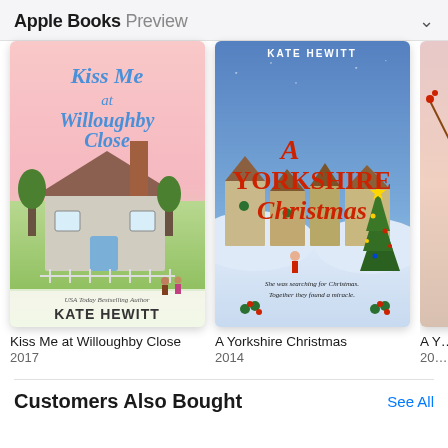Apple Books Preview
[Figure (illustration): Book cover: Kiss Me at Willoughby Close by Kate Hewitt, 2017. Pink and green illustrated cover with a cottage and cursive title.]
Kiss Me at Willoughby Close
2017
[Figure (illustration): Book cover: A Yorkshire Christmas by Kate Hewitt, 2014. Winter snowy village scene with red scripted title and Christmas tree.]
A Yorkshire Christmas
2014
[Figure (illustration): Partial book cover, third book partially visible, year 201x.]
A Y…
20…
Customers Also Bought
See All